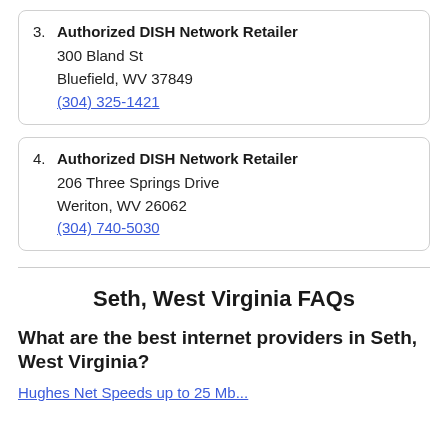3. Authorized DISH Network Retailer
300 Bland St
Bluefield, WV 37849
(304) 325-1421
4. Authorized DISH Network Retailer
206 Three Springs Drive
Weriton, WV 26062
(304) 740-5030
Seth, West Virginia FAQs
What are the best internet providers in Seth, West Virginia?
Hughes Net Speeds up to 25 Mb...